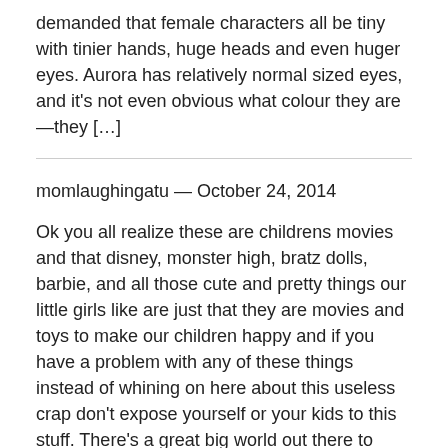demanded that female characters all be tiny with tinier hands, huge heads and even huger eyes. Aurora has relatively normal sized eyes, and it's not even obvious what colour they are—they […]
momlaughingatu — October 24, 2014
Ok you all realize these are childrens movies and that disney, monster high, bratz dolls, barbie, and all those cute and pretty things our little girls like are just that they are movies and toys to make our children happy and if you have a problem with any of these things instead of whining on here about this useless crap don't expose yourself or your kids to this stuff. There's a great big world out there to explore and yall are discussing fake crap I stumbled upon this chat while looking up frozen characters because its a wonderful movie and I found this discussion so ridiculous that after I got done laughing I had to comment. Find a discussion on something that matters like suffering children or animals or cancer you know something